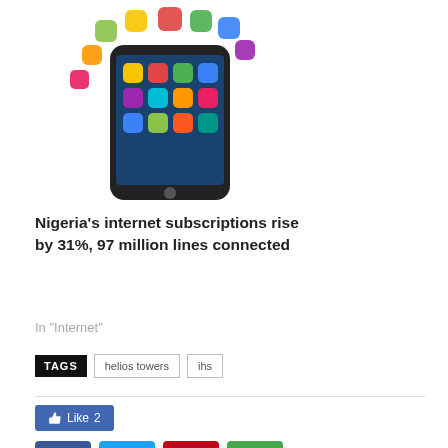[Figure (photo): Smartphone with colorful app icons floating above it]
Nigeria’s internet subscriptions rise by 31%, 97 million lines connected
In "Internet"
TAGS  helios towers  ihs
[Figure (infographic): Like 2 button and social share buttons: Facebook, Twitter, Pinterest, WhatsApp]